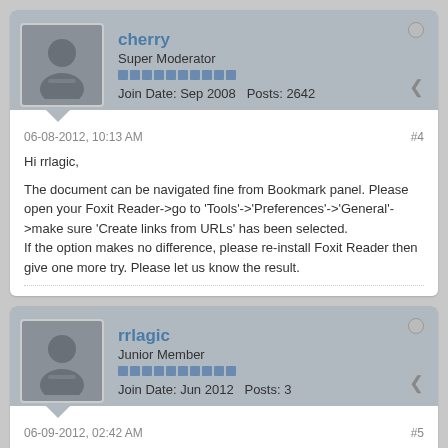cherry
Super Moderator
Join Date: Sep 2008  Posts: 2642
06-08-2012, 10:13 AM
#4
Hi rrlagic,

The document can be navigated fine from Bookmark panel. Please open your Foxit Reader->go to 'Tools'->'Preferences'->'General'->make sure 'Create links from URLs' has been selected.
If the option makes no difference, please re-install Foxit Reader then give one more try. Please let us know the result.
rrlagic
Junior Member
Join Date: Jun 2012  Posts: 3
06-09-2012, 02:42 AM
#5